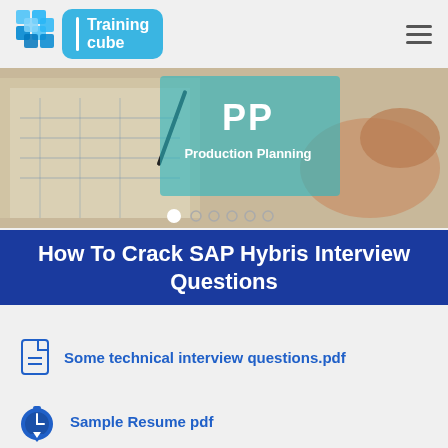[Figure (logo): Training Cube logo with 3D cube icon and text on blue rounded rectangle background]
[Figure (photo): Person drawing/planning on paper with a pen, blueprint-style drawing visible. Overlay shows 'PP Production Planning' text on teal background. Slideshow navigation dots below.]
How To Crack SAP Hybris Interview Questions
Some technical interview questions.pdf
Sample Resume pdf